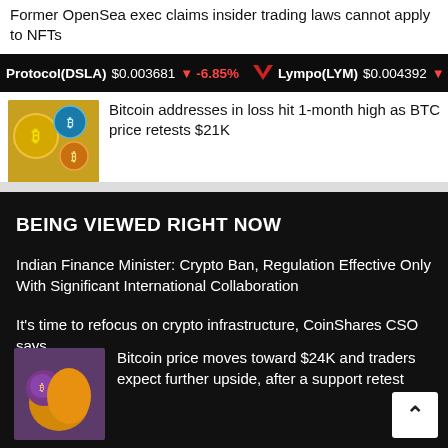Former OpenSea exec claims insider trading laws cannot apply to NFTs
Protocol(DSLA) $0.003681 ↓ -6.85%   Lympo(LYM) $0.004392 ↓ -4.4
Bitcoin addresses in loss hit 1-month high as BTC price retests $21K
BEING VIEWED RIGHT NOW
Indian Finance Minister: Crypto Ban, Regulation Effective Only With Significant International Collaboration
It's time to refocus on crypto infrastructure, CoinShares CSO says
Bitcoin price moves toward $24K and traders expect further upside, after a support retest